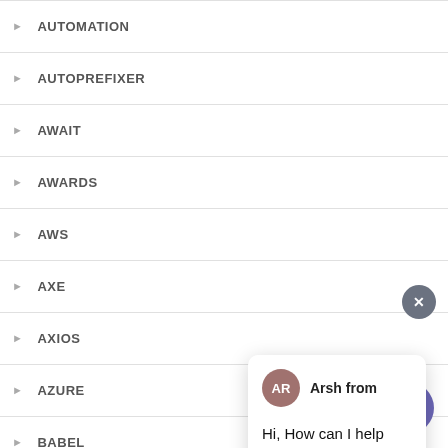AUTOMATION
AUTOPREFIXER
AWAIT
AWARDS
AWS
AXE
AXIOS
AZURE
BABEL
[Figure (screenshot): Chat popup widget showing avatar with initials AR for 'Arsh from', message 'Hi, How can I help you?', text input field 'Type your message' with send arrow, close X button, and floating purple chat FAB button in bottom right corner.]